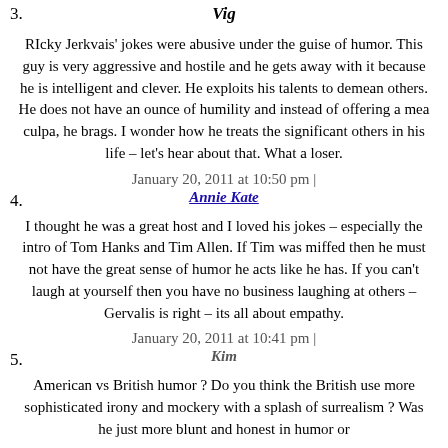3. Vig
RIcky Jerkvais' jokes were abusive under the guise of humor. This guy is very aggressive and hostile and he gets away with it because he is intelligent and clever. He exploits his talents to demean others. He does not have an ounce of humility and instead of offering a mea culpa, he brags. I wonder how he treats the significant others in his life – let's hear about that. What a loser.
January 20, 2011 at 10:50 pm |
4. Annie Kate
I thought he was a great host and I loved his jokes – especially the intro of Tom Hanks and Tim Allen. If Tim was miffed then he must not have the great sense of humor he acts like he has. If you can't laugh at yourself then you have no business laughing at others – Gervalis is right – its all about empathy.
January 20, 2011 at 10:41 pm |
5. Kim
American vs British humor ? Do you think the British use more sophisticated irony and mockery with a splash of surrealism ? Was he just more blunt and honest in humor or